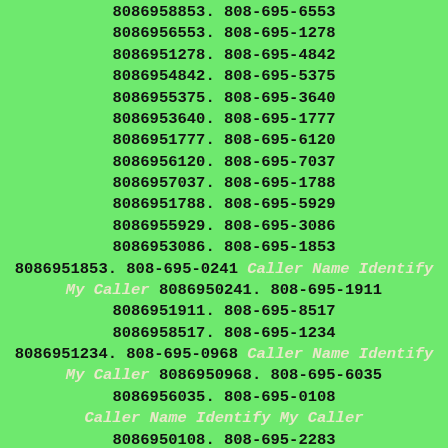8086958853. 808-695-6553 8086956553. 808-695-1278 8086951278. 808-695-4842 8086954842. 808-695-5375 8086955375. 808-695-3640 8086953640. 808-695-1777 8086951777. 808-695-6120 8086956120. 808-695-7037 8086957037. 808-695-1788 8086951788. 808-695-5929 8086955929. 808-695-3086 8086953086. 808-695-1853 8086951853. 808-695-0241 Caller Name Identify My Caller 8086950241. 808-695-1911 8086951911. 808-695-8517 8086958517. 808-695-1234 8086951234. 808-695-0968 Caller Name Identify My Caller 8086950968. 808-695-6035 8086956035. 808-695-0108 Caller Name Identify My Caller 8086950108. 808-695-2283 8086952283. 808-695-4704 8086954704. 808-695-2297 8086952297. 808-695-4341 8086954341. 808-695-3068